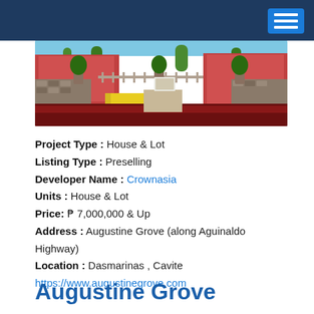Navigation header bar with menu button
[Figure (photo): Exterior photo of Augustine Grove property showing red/pink buildings with stone walls, flowering plants, and trees along the entrance pathway.]
Project Type : House & Lot
Listing Type : Preselling
Developer Name : Crownasia
Units : House & Lot
Price: ₱ 7,000,000 & Up
Address : Augustine Grove (along Aguinaldo Highway)
Location : Dasmarinas , Cavite
https://www.augustinegrove.com
Augustine Grove